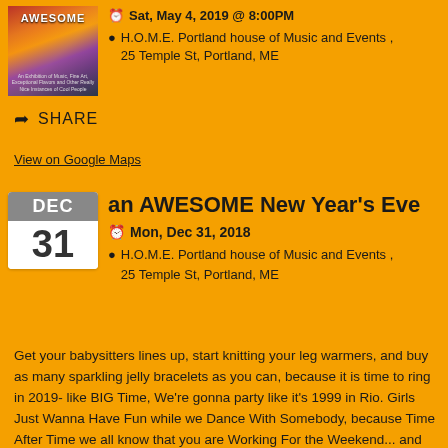[Figure (illustration): Thumbnail image for an AWESOME event with colorful abstract design and AWESOME text]
Sat, May 4, 2019 @ 8:00PM
H.O.M.E. Portland house of Music and Events , 25 Temple St, Portland, ME
SHARE
View on Google Maps
[Figure (other): Calendar icon showing DEC 31]
an AWESOME New Year's Eve
Mon, Dec 31, 2018
H.O.M.E. Portland house of Music and Events , 25 Temple St, Portland, ME
Get your babysitters lines up, start knitting your leg warmers, and buy as many sparkling jelly bracelets as you can, because it is time to ring in 2019- like BIG Time, We're gonna party like it's 1999 in Rio. Girls Just Wanna Have Fun while we Dance With Somebody, because Time After Time we all know that you are Working For the Weekend... and lets face it, I Don't Wanna Lose Your Love.